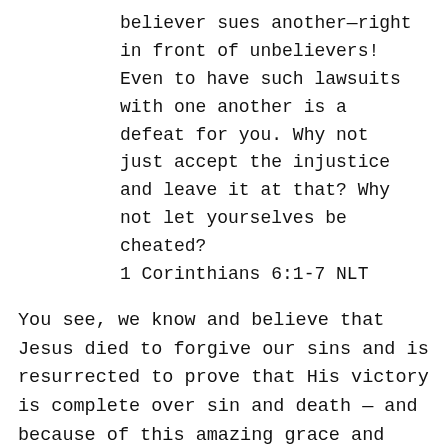believer sues another—right in front of unbelievers! Even to have such lawsuits with one another is a defeat for you. Why not just accept the injustice and leave it at that? Why not let yourselves be cheated? 1 Corinthians 6:1-7 NLT
You see, we know and believe that Jesus died to forgive our sins and is resurrected to prove that His victory is complete over sin and death — and because of this amazing grace and mercy extended towards us, we are compelled to extend mercy and grace to others — not because it is what they deserve, not because it will gain us anything in return, but because